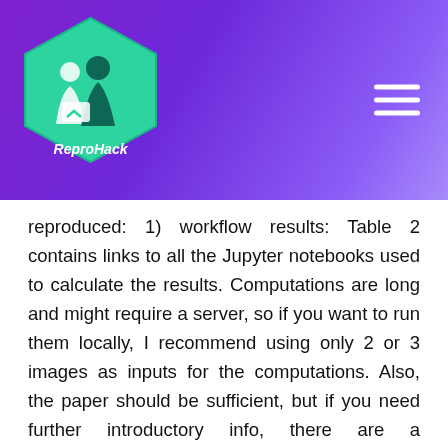[Figure (logo): ReproHack hexagonal logo with teal/green background showing two figures and a document icon, with 'ReproHack' text in white]
reproduced: 1) workflow results: Table 2 contains links to all the Jupyter notebooks used to calculate the results. Computations are long and might require a server, so if you want to run them locally, I recommend using only 2 or 3 images as inputs for the computations. Also, the paper should be sufficient, but if you need further introductory info, there are a documentation website: https://sbonaretti.github.io/pyKNEEr/ and a "how to" video: https://youtu.be/7WPf5KFtYi8 2) paper graphs: In the captions of figures 1,